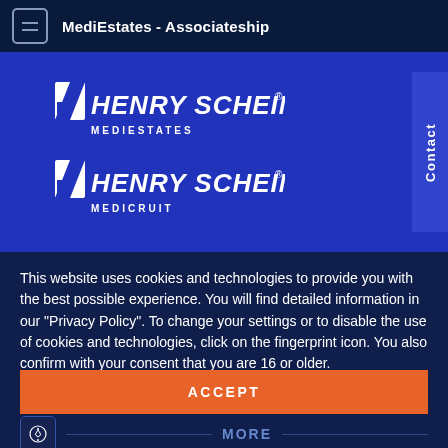MediEstates - Associateship
[Figure (logo): Henry Schein MediEstates logo - white text on blue background with checkmark icon]
[Figure (logo): Henry Schein Medicruit logo - white text on blue background with checkmark icon]
This website uses cookies and technologies to provide you with the best possible experience. You will find detailed information in our "Privacy Policy". To change your settings or to disable the use of cookies and technologies, click on the fingerprint icon. You also confirm with your consent that you are 16 or older.
ACCEPT
MORE